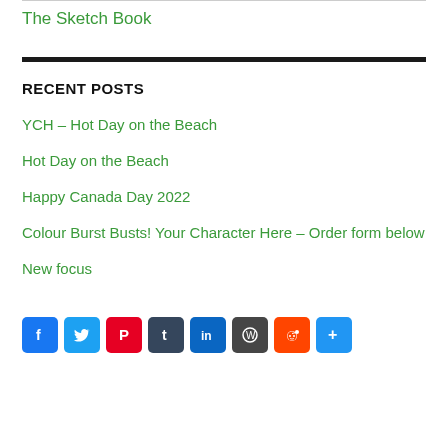The Sketch Book
RECENT POSTS
YCH – Hot Day on the Beach
Hot Day on the Beach
Happy Canada Day 2022
Colour Burst Busts! Your Character Here – Order form below
New focus
[Figure (infographic): Social share buttons: Facebook, Twitter, Pinterest, Tumblr, LinkedIn, WordPress, Reddit, More]